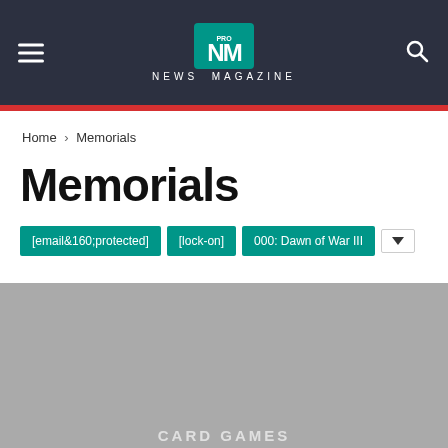NEWS MAGAZINE
Home › Memorials
Memorials
[email&160;protected]  [lock-on]  000: Dawn of War III
[Figure (photo): Gray placeholder image area with 'CARD GAMES' text at the bottom]